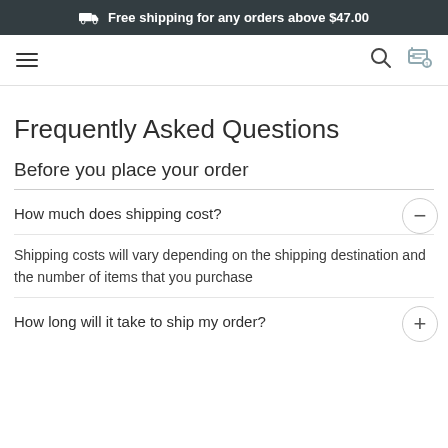Free shipping for any orders above $47.00
Frequently Asked Questions
Before you place your order
How much does shipping cost?
Shipping costs will vary depending on the shipping destination and the number of items that you purchase
How long will it take to ship my order?